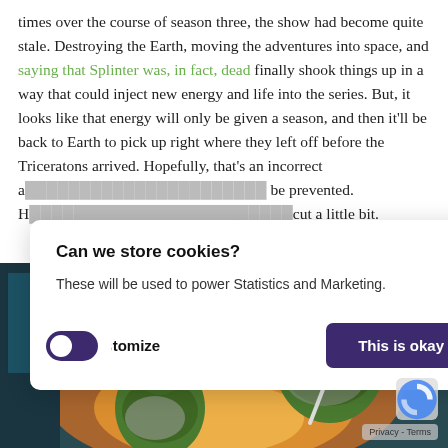times over the course of season three, the show had become quite stale. Destroying the Earth, moving the adventures into space, and saying that Splinter was, in fact, dead finally shook things up in a way that could inject new energy and life into the series. But, it looks like that energy will only be given a season, and then it'll be back to Earth to pick up right where they left off before the Triceratons arrived. Hopefully, that's an incorrect a[...] be prevented. H[...] cut a little bit.
[Figure (screenshot): Cookie consent dialog overlay on a webpage. The dialog reads 'Can we store cookies? These will be used to power Statistics and Marketing.' with buttons 'No, Customize' and 'This is okay' (purple). Below/behind the dialog is an image of animated Teenage Mutant Ninja Turtles characters in space suits with weapons, against an orange explosion background. A toggle switch (purple, off position) is visible at lower left. A reCAPTCHA icon and Privacy/Terms link appear at lower right.]